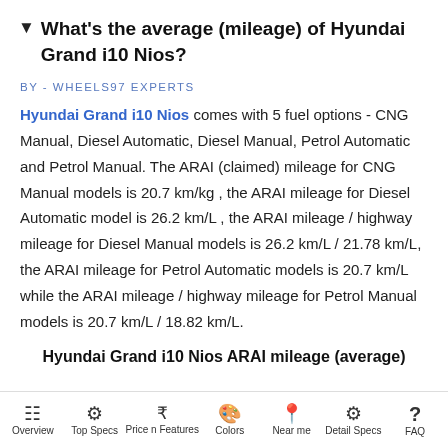▼ What's the average (mileage) of Hyundai Grand i10 Nios?
BY - WHEELS97 EXPERTS
Hyundai Grand i10 Nios comes with 5 fuel options - CNG Manual, Diesel Automatic, Diesel Manual, Petrol Automatic and Petrol Manual. The ARAI (claimed) mileage for CNG Manual models is 20.7 km/kg , the ARAI mileage for Diesel Automatic model is 26.2 km/L , the ARAI mileage / highway mileage for Diesel Manual models is 26.2 km/L / 21.78 km/L, the ARAI mileage for Petrol Automatic models is 20.7 km/L while the ARAI mileage / highway mileage for Petrol Manual models is 20.7 km/L / 18.82 km/L.
Hyundai Grand i10 Nios ARAI mileage (average)
Overview  Top Specs  Price n Features  Colors  Near me  Detail Specs  FAQ